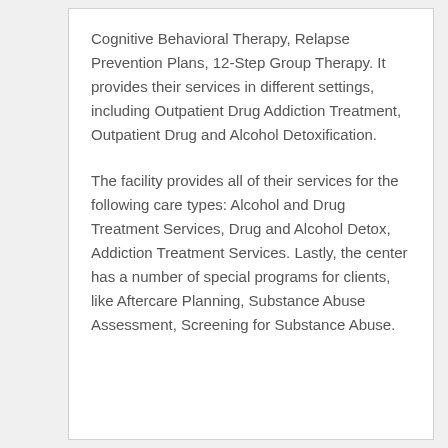Cognitive Behavioral Therapy, Relapse Prevention Plans, 12-Step Group Therapy. It provides their services in different settings, including Outpatient Drug Addiction Treatment, Outpatient Drug and Alcohol Detoxification.
The facility provides all of their services for the following care types: Alcohol and Drug Treatment Services, Drug and Alcohol Detox, Addiction Treatment Services. Lastly, the center has a number of special programs for clients, like Aftercare Planning, Substance Abuse Assessment, Screening for Substance Abuse.